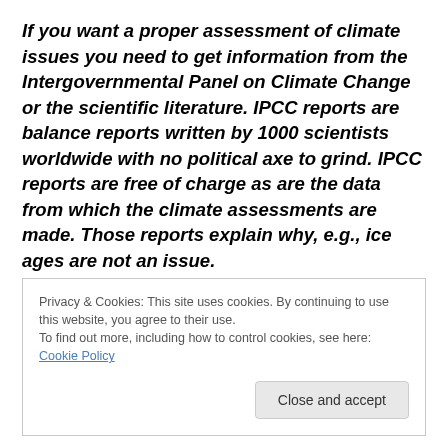If you want a proper assessment of climate issues you need to get information from the Intergovernmental Panel on Climate Change or the scientific literature. IPCC reports are balance reports written by 1000 scientists worldwide with no political axe to grind. IPCC reports are free of charge as are the data from which the climate assessments are made. Those reports explain why, e.g., ice ages are not an issue.
Privacy & Cookies: This site uses cookies. By continuing to use this website, you agree to their use. To find out more, including how to control cookies, see here: Cookie Policy